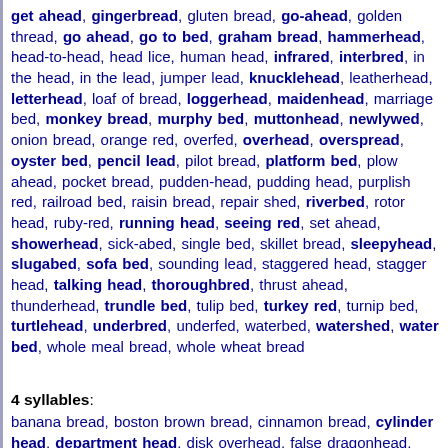get ahead, gingerbread, gluten bread, go-ahead, golden thread, go ahead, go to bed, graham bread, hammerhead, head-to-head, head lice, human head, infrared, interbred, in the head, in the lead, jumper lead, knucklehead, leatherhead, letterhead, loaf of bread, loggerhead, maidenhead, marriage bed, monkey bread, murphy bed, muttonhead, newlywed, onion bread, orange red, overfed, overhead, overspread, oyster bed, pencil lead, pilot bread, platform bed, plow ahead, pocket bread, pudden-head, pudding head, purplish red, railroad bed, raisin bread, repair shed, riverbed, rotor head, ruby-red, running head, seeing red, set ahead, showerhead, sick-abed, single bed, skillet bread, sleepyhead, slugabed, sofa bed, sounding lead, staggered head, stagger head, talking head, thoroughbred, thrust ahead, thunderhead, trundle bed, tulip bed, turkey red, turnip bed, turtlehead, underbred, underfed, waterbed, watershed, water bed, whole meal bread, whole wheat bread
4 syllables:
banana bread, boston brown bread, cinnamon bread, cylinder head, department head, disk overhead, false dragonhead, false dragon head, get into bed, heels over